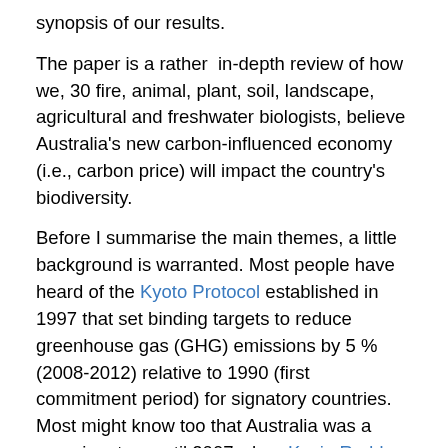synopsis of our results.
The paper is a rather  in-depth review of how we, 30 fire, animal, plant, soil, landscape, agricultural and freshwater biologists, believe Australia's new carbon-influenced economy (i.e., carbon price) will impact the country's biodiversity.
Before I summarise the main themes, a little background is warranted. Most people have heard of the Kyoto Protocol established in 1997 that set binding targets to reduce greenhouse gas (GHG) emissions by 5 % (2008-2012) relative to 1990 (first commitment period) for signatory countries. Most might know too that Australia was a non-signatory until 2007 when Kevin Rudd famously allowed climate change into Australian politics. Kyoto has just entered the second commitment period (2013-2020)